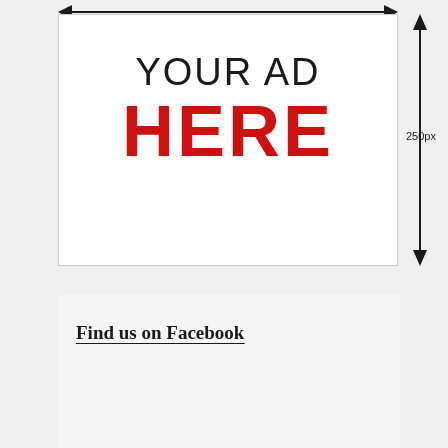[Figure (other): Ad placeholder box showing 'YOUR AD HERE' with horizontal and vertical dimension arrows indicating width and 250px height]
Find us on Facebook